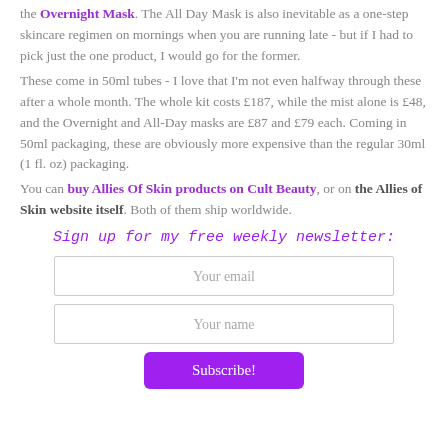the Overnight Mask. The All Day Mask is also inevitable as a one-step skincare regimen on mornings when you are running late - but if I had to pick just the one product, I would go for the former.
These come in 50ml tubes - I love that I'm not even halfway through these after a whole month. The whole kit costs £187, while the mist alone is £48, and the Overnight and All-Day masks are £87 and £79 each. Coming in 50ml packaging, these are obviously more expensive than the regular 30ml (1 fl. oz) packaging.
You can buy Allies Of Skin products on Cult Beauty, or on the Allies of Skin website itself. Both of them ship worldwide.
Sign up for my free weekly newsletter:
Your email
Your name
Subscribe!